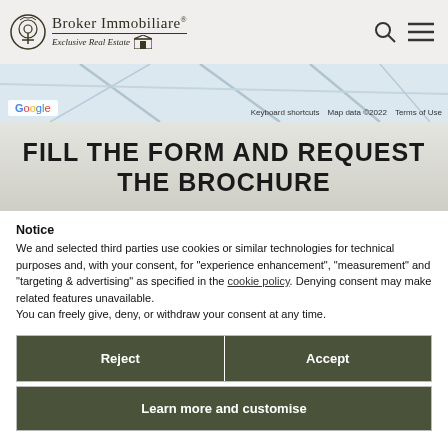Broker Immobiliare® Exclusive Real Estate
[Figure (map): Google Maps strip showing a road map area with Google logo, keyboard shortcuts, Map data ©2022, and Terms of Use credits]
FILL THE FORM AND REQUEST THE BROCHURE
Notice
We and selected third parties use cookies or similar technologies for technical purposes and, with your consent, for "experience enhancement", "measurement" and "targeting & advertising" as specified in the cookie policy. Denying consent may make related features unavailable.
You can freely give, deny, or withdraw your consent at any time.
Reject
Accept
Learn more and customise